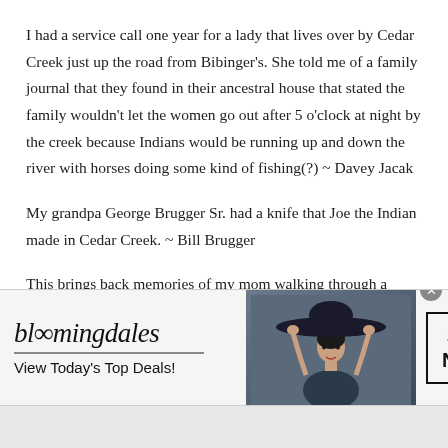I had a service call one year for a lady that lives over by Cedar Creek just up the road from Bibinger's. She told me of a family journal that they found in their ancestral house that stated the family wouldn't let the women go out after 5 o'clock at night by the creek because Indians would be running up and down the river with horses doing some kind of fishing(?) ~ Davey Jacak
My grandpa George Brugger Sr. had a knife that Joe the Indian made in Cedar Creek. ~ Bill Brugger
This brings back memories of my mom walking through a freshly worked-up field. We lived and I grew up in Farmington. And she would
[Figure (other): Bloomingdale's advertisement banner with logo, tagline 'View Today's Top Deals!', an image of a woman wearing a large dark hat, and a 'SHOP NOW >' button. A close (x) button appears in the top right corner.]